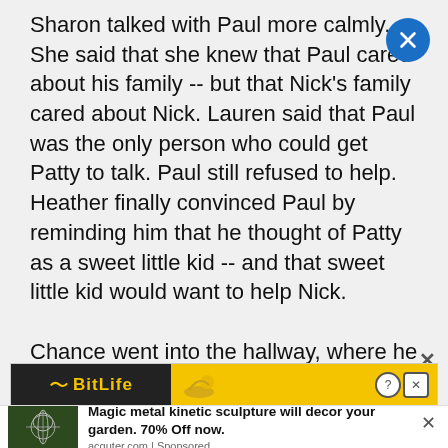Sharon talked with Paul more calmly. She said that she knew that Paul cared about his family -- but that Nick's family cared about Nick. Lauren said that Paul was the only person who could get Patty to talk. Paul still refused to help. Heather finally convinced Paul by reminding him that he thought of Patty as a sweet little kid -- and that sweet little kid would want to help Nick.

Chance went into the hallway, where he found a sulking Chloe eating the Chinese food out of a container. Chloe told Chance that she realized that this was his job. Chance told he
[Figure (screenshot): Advertisement banner for BitLife app with dark background and yellow text]
[Figure (photo): Advertisement showing a metal kinetic garden sculpture with text: Magic metal kinetic sculpture will decor your garden. 70% Off now. acquter.com | Sponsored]